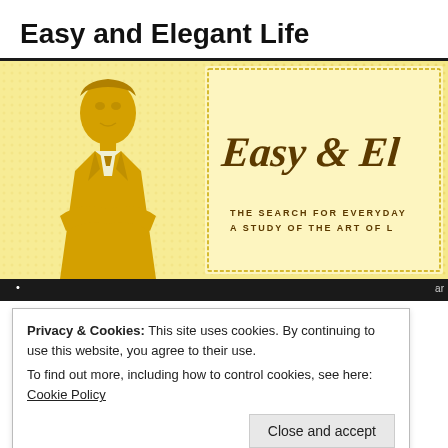Easy and Elegant Life
[Figure (illustration): Website banner for 'Easy & Elegant Life' blog. Shows a stylized golden illustration of a well-dressed man with arms crossed against a cream/yellow patterned background. Cursive script text reads 'Easy & El...' and smaller uppercase text reads 'THE SEARCH FOR EVERYDAY' and 'A STUDY OF THE ART OF L'.]
Privacy & Cookies: This site uses cookies. By continuing to use this website, you agree to their use.
To find out more, including how to control cookies, see here: Cookie Policy
Close and accept
Lest we Forget